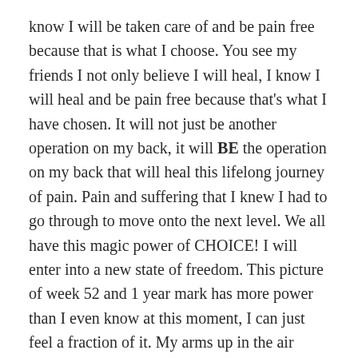know I will be taken care of and be pain free because that is what I choose. You see my friends I not only believe I will heal, I know I will heal and be pain free because that's what I have chosen. It will not just be another operation on my back, it will BE the operation on my back that will heal this lifelong journey of pain. Pain and suffering that I knew I had to go through to move onto the next level. We all have this magic power of CHOICE! I will enter into a new state of freedom. This picture of week 52 and 1 year mark has more power than I even know at this moment, I can just feel a fraction of it. My arms up in the air calling upon my helpers to join me in every step of the way I take as I put one foot in front of the other. I am a goddess. I surrender and free myself of all that is holding me captive. The lace represents the softness of the road ahead as it wraps itself around my body and leading the path. What a beautiful way to step forward into the unknown with such resilience,